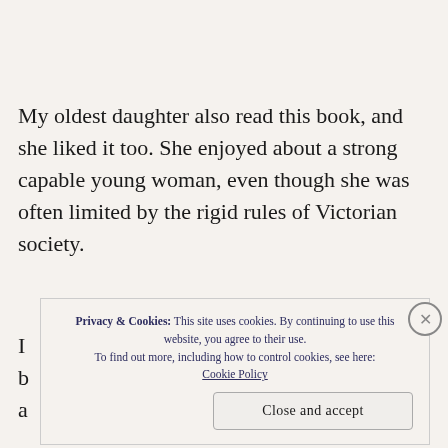My oldest daughter also read this book, and she liked it too. She enjoyed about a strong capable young woman, even though she was often limited by the rigid rules of Victorian society.
I ... b ... a ...
Privacy & Cookies: This site uses cookies. By continuing to use this website, you agree to their use. To find out more, including how to control cookies, see here: Cookie Policy
Close and accept